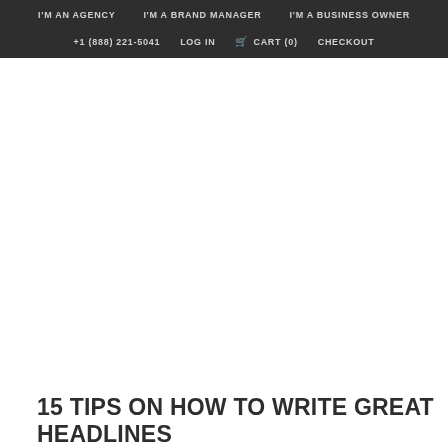I'M AN AGENCY   I'M A BRAND MANAGER   I'M A BUSINESS OWNER   +1 (888) 221-5041   LOG IN   CART (0)   CHECKOUT
15 TIPS ON HOW TO WRITE GREAT HEADLINES